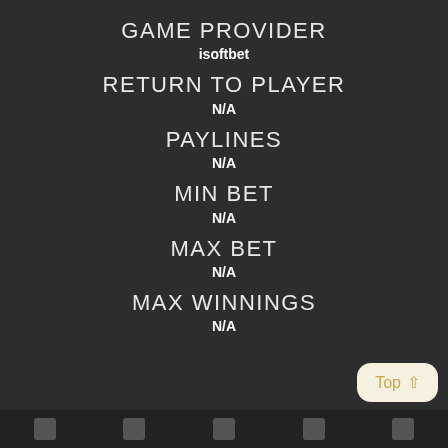GAME PROVIDER
isoftbet
RETURN TO PLAYER
N/A
PAYLINES
N/A
MIN BET
N/A
MAX BET
N/A
MAX WINNINGS
N/A